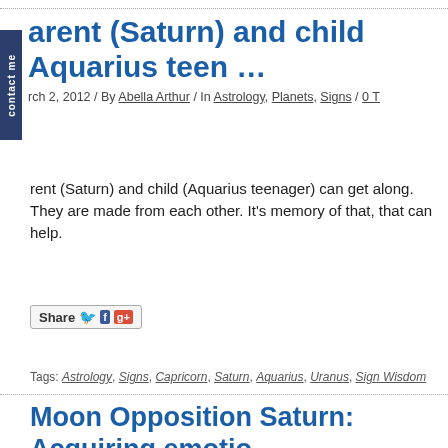arent (Saturn) and child Aquarius teen …
rch 2, 2012 / By Abella Arthur / In Astrology, Planets, Signs / 0 T
rent (Saturn) and child (Aquarius teenager) can get along. They are made from each other. It's memory of that, that can help.
[Figure (other): Share button with Twitter, Facebook, and Google+ icons]
Tags: Astrology, Signs, Capricorn, Saturn, Aquarius, Uranus, Sign Wisdom
Moon Opposition Saturn: Acquiring emotio …